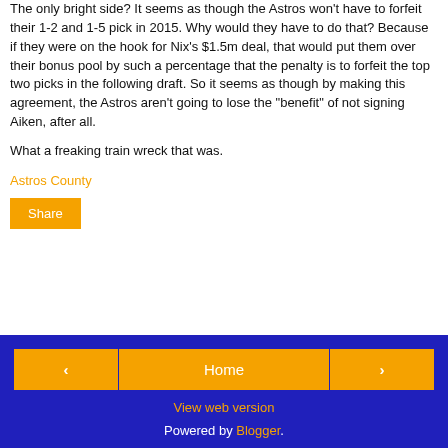The only bright side? It seems as though the Astros won't have to forfeit their 1-2 and 1-5 pick in 2015. Why would they have to do that? Because if they were on the hook for Nix's $1.5m deal, that would put them over their bonus pool by such a percentage that the penalty is to forfeit the top two picks in the following draft. So it seems as though by making this agreement, the Astros aren't going to lose the "benefit" of not signing Aiken, after all.
What a freaking train wreck that was.
Astros County
Share
< | Home | > | View web version | Powered by Blogger.